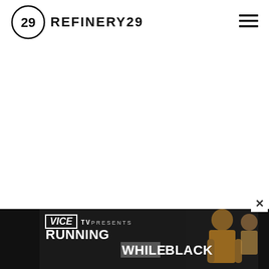REFINERY29
[Figure (screenshot): Refinery29 website screenshot with white blank main content area]
[Figure (photo): Advertisement banner for Vice TV Presents: Running While Black, showing a person in the right portion of the banner]